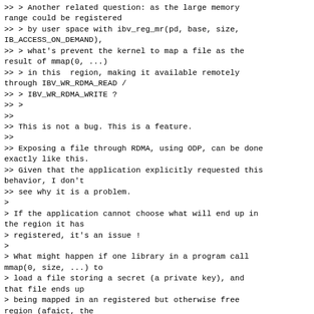>> > Another related question: as the large memory range could be registered
>> > by user space with ibv_reg_mr(pd, base, size, IB_ACCESS_ON_DEMAND),
>> > what's prevent the kernel to map a file as the result of mmap(0, ...)
>> > in this  region, making it available remotely through IBV_WR_RDMA_READ /
>> > IBV_WR_RDMA_WRITE ?
>> >
>>
>> This is not a bug. This is a feature.
>>
>> Exposing a file through RDMA, using ODP, can be done exactly like this.
>> Given that the application explicitly requested this behavior, I don't
>> see why it is a problem.
>
> If the application cannot choose what will end up in the region it has
> registered, it's an issue !
>
> What might happen if one library in a program call mmap(0, size, ...) to
> load a file storing a secret (a private key), and that file ends up
> being mapped in an registered but otherwise free region (afaict, the
> kernel is allowed to do it) ?
> What might happen if one library in a program call